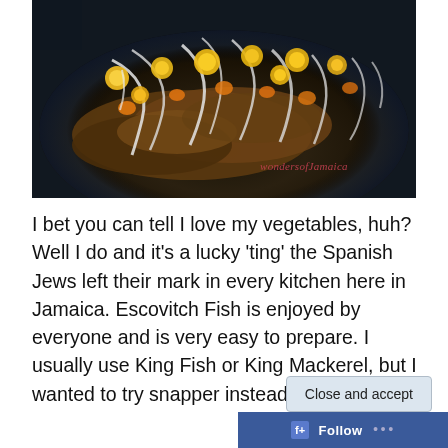[Figure (photo): Close-up photo of Escovitch Fish dish on a dark plate, topped with pickled vegetables including sliced onions, yellow scotch bonnet peppers, and carrots. Watermark reads 'wondersofJamaica' in red cursive text.]
I bet you can tell I love my vegetables, huh? Well I do and it's a lucky 'ting' the Spanish Jews left their mark in every kitchen here in Jamaica. Escovitch Fish is enjoyed by everyone and is very easy to prepare. I usually use King Fish or King Mackerel, but I wanted to try snapper instead.
Privacy & Cookies: This site uses cookies. By continuing to use this website, you agree to their use.
To find out more, including how to control cookies, see here: Cookie Policy